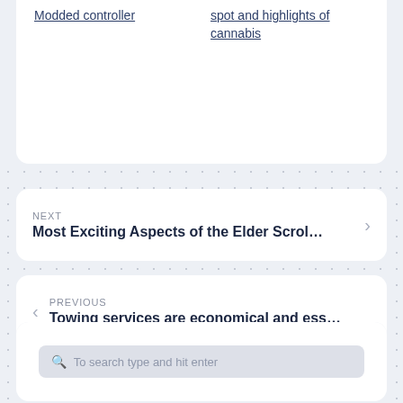Modded controller
spot and highlights of cannabis
NEXT
Most Exciting Aspects of the Elder Scrol…
PREVIOUS
Towing services are economical and ess…
To search type and hit enter